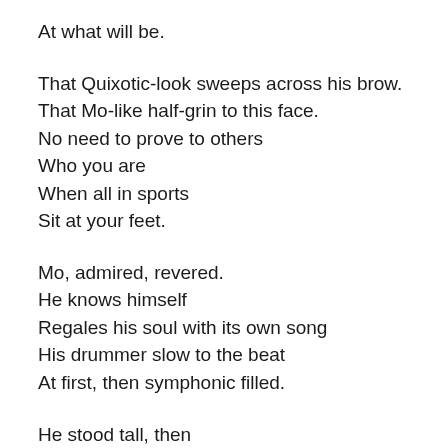At what will be.
That Quixotic-look sweeps across his brow.
That Mo-like half-grin to this face.
No need to prove to others
Who you are
When all in sports
Sit at your feet.
Mo, admired, revered.
He knows himself
Regales his soul with its own song
His drummer slow to the beat
At first, then symphonic filled.
He stood tall, then
And always will
As no one has, but this